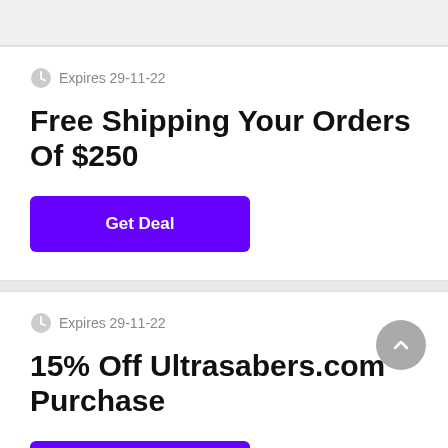Expires 29-11-22
Free Shipping Your Orders Of $250
Get Deal
Expires 29-11-22
15% Off Ultrasabers.com Purchase
Get Deal